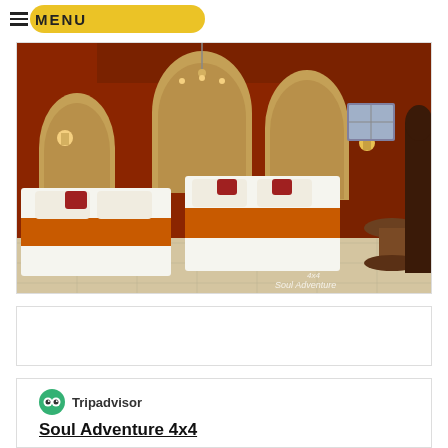MENU
[Figure (photo): Hotel room with two twin beds, orange and white bedding, arch-shaped wall niches with warm lighting, and a small side table. Watermark reads '4x4 Soul Adventure'.]
Tripadvisor
Soul Adventure 4x4